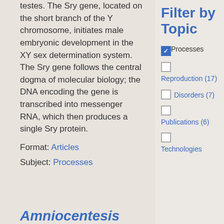testes. The Sry gene, located on the short branch of the Y chromosome, initiates male embryonic development in the XY sex determination system. The Sry gene follows the central dogma of molecular biology; the DNA encoding the gene is transcribed into messenger RNA, which then produces a single Sry protein.
Format: Articles
Subject: Processes
Filter by Topic
Processes (checked)
Reproduction (17)
Disorders (7)
Publications (6)
Technologies
Amniocentesis